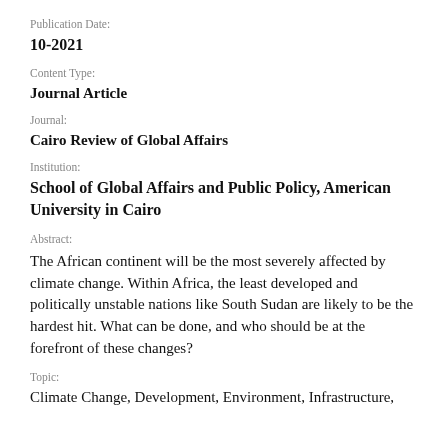Publication Date:
10-2021
Content Type:
Journal Article
Journal:
Cairo Review of Global Affairs
Institution:
School of Global Affairs and Public Policy, American University in Cairo
Abstract:
The African continent will be the most severely affected by climate change. Within Africa, the least developed and politically unstable nations like South Sudan are likely to be the hardest hit. What can be done, and who should be at the forefront of these changes?
Topic:
Climate Change, Development, Environment, Infrastructure,